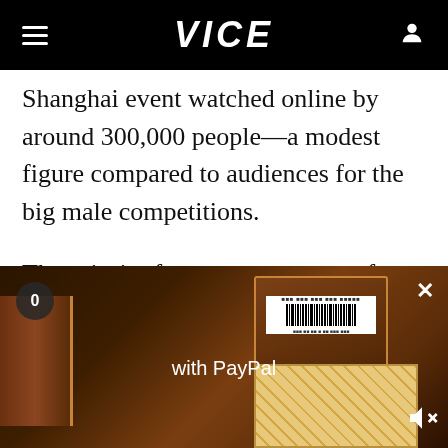VICE
Shanghai event watched online by around 300,000 people—a modest figure compared to audiences for the big male competitions.
The priority for most managers of female teams, then, is making money through sponsorships, promotion deals, and self-broadcast websites rather than tournaments.
The Twin Flower Girls explain that their most
[Figure (screenshot): Video advertisement overlay at bottom of page showing a package/box with barcode and wooden crate, with 'with PayPal' text overlay, a '0' counter badge, a close button X, and a mute icon.]